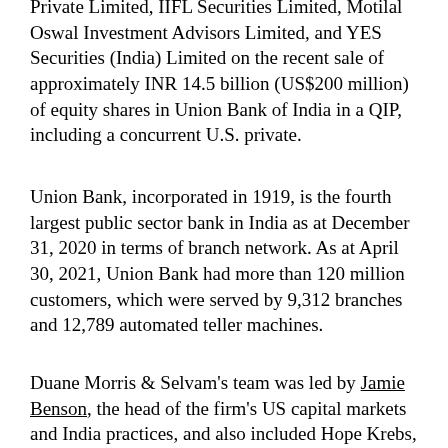Private Limited, IIFL Securities Limited, Motilal Oswal Investment Advisors Limited, and YES Securities (India) Limited on the recent sale of approximately INR 14.5 billion (US$200 million) of equity shares in Union Bank of India in a QIP, including a concurrent U.S. private.
Union Bank, incorporated in 1919, is the fourth largest public sector bank in India as at December 31, 2020 in terms of branch network. As at April 30, 2021, Union Bank had more than 120 million customers, which were served by 9,312 branches and 12,789 automated teller machines.
Duane Morris & Selvam's team was led by Jamie Benson, the head of the firm's US capital markets and India practices, and also included Hope Krebs, Ken Tan, Jacob Low and Yeo Ming Ze.
L&L Partners acted as Indian counsel to Union Bank and